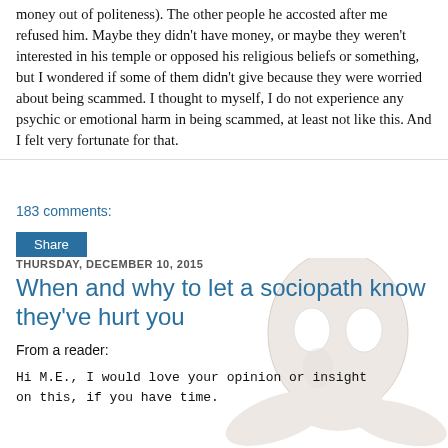money out of politeness). The other people he accosted after me refused him. Maybe they didn't have money, or maybe they weren't interested in his temple or opposed his religious beliefs or something, but I wondered if some of them didn't give because they were worried about being scammed. I thought to myself, I do not experience any psychic or emotional harm in being scammed, at least not like this. And I felt very fortunate for that.
183 comments:
Share
THURSDAY, DECEMBER 10, 2015
When and why to let a sociopath know they've hurt you
From a reader:
Hi M.E., I would love your opinion or insight on this, if you have time.
[Figure (illustration): A white blank-faced mask with hollow eyes, held up by hands, on a light background.]